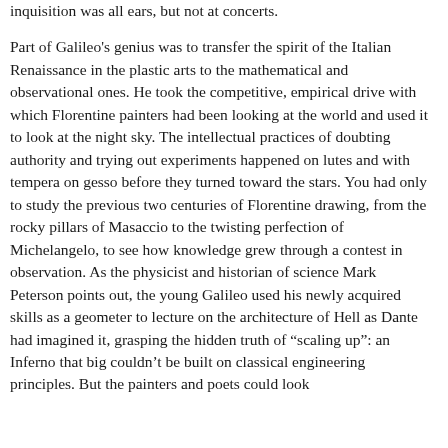inquisition was all ears, but not at concerts. Part of Galileo's genius was to transfer the spirit of the Italian Renaissance in the plastic arts to the mathematical and observational ones. He took the competitive, empirical drive with which Florentine painters had been looking at the world and used it to look at the night sky. The intellectual practices of doubting authority and trying out experiments happened on lutes and with tempera on gesso before they turned toward the stars. You had only to study the previous two centuries of Florentine drawing, from the rocky pillars of Masaccio to the twisting perfection of Michelangelo, to see how knowledge grew through a contest in observation. As the physicist and historian of science Mark Peterson points out, the young Galileo used his newly acquired skills as a geometer to lecture on the architecture of Hell as Dante had imagined it, grasping the hidden truth of “scaling up”: an Inferno that big couldn’t be built on classical engineering principles. But the painters and poets could look